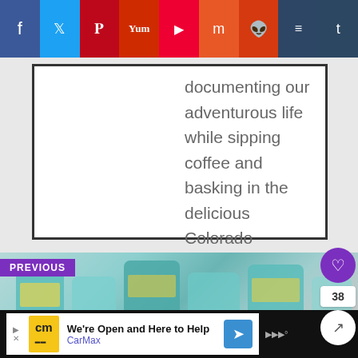[Figure (screenshot): Social media sharing toolbar with icons: Facebook, Twitter, Pinterest, Yummly, Flipboard, Mix, Reddit, Buffer, Tumblr]
documenting our adventurous life while sipping coffee and basking in the delicious Colorado sunshine.
[Figure (photo): Photo of medication/supplement bottles with teal lids, overlaid with PREVIOUS label and article title 'Doctor’s Appointment of Doom™' in purple italic text. Heart button, count 38, and share button on right side.]
[Figure (screenshot): CarMax advertisement bar at bottom: 'We're Open and Here to Help' with CarMax logo and navigation arrow icon]